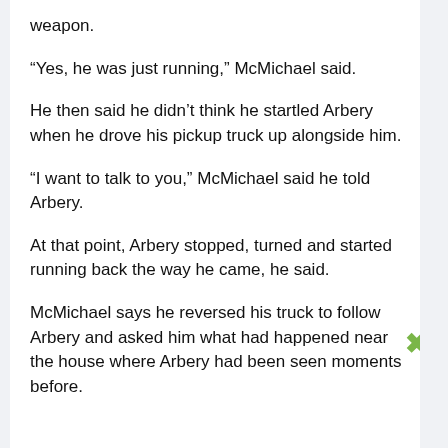weapon.
“Yes, he was just running,” McMichael said.
He then said he didn’t think he startled Arbery when he drove his pickup truck up alongside him.
“I want to talk to you,” McMichael said he told Arbery.
At that point, Arbery stopped, turned and started running back the way he came, he said.
McMichael says he reversed his truck to follow Arbery and asked him what had happened near the house where Arbery had been seen moments before.